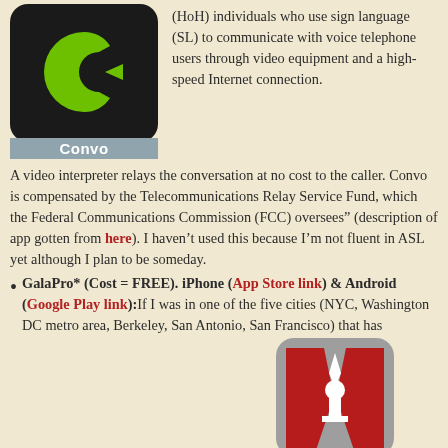[Figure (logo): Convo app icon: black rounded rectangle with green C and arrow logo, with 'Convo' label on grey background]
(HoH) individuals who use sign language (SL) to communicate with voice telephone users through video equipment and a high-speed Internet connection. A video interpreter relays the conversation at no cost to the caller. Convo is compensated by the Telecommunications Relay Service Fund, which the Federal Communications Commission (FCC) oversees" (description of app gotten from here). I haven't used this because I'm not fluent in ASL yet although I plan to be someday.
GalaPro* (Cost = FREE). iPhone (App Store link) & Android (Google Play link):If I was in one of the five cities (NYC, Washington DC metro area, Berkeley, San Antonio, San Francisco) that has
[Figure (logo): GalaPro app icon: grey rounded rectangle with red theater curtains and white star shape]